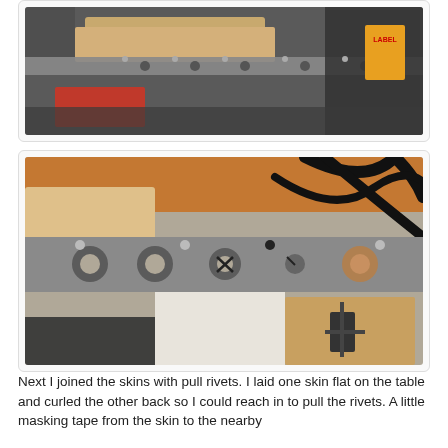[Figure (photo): Workshop photo showing a metal track/rail with holes and a wooden piece being worked on a drill press or similar machine.]
[Figure (photo): Close-up photo of a metal track with circular holes/cutouts, wooden pieces, and black cables/wires nearby on a workbench.]
Next I joined the skins with pull rivets. I laid one skin flat on the table and curled the other back so I could reach in to pull the rivets. A little masking tape from the skin to the nearby